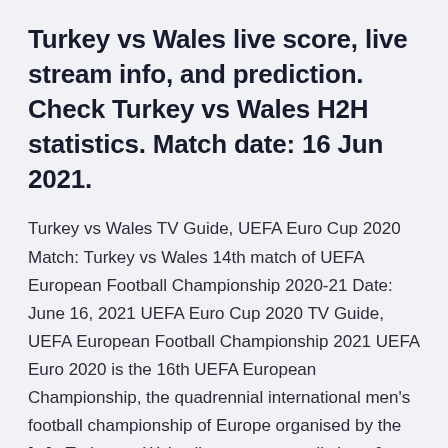Turkey vs Wales live score, live stream info, and prediction. Check Turkey vs Wales H2H statistics. Match date: 16 Jun 2021.
Turkey vs Wales TV Guide, UEFA Euro Cup 2020 Match: Turkey vs Wales 14th match of UEFA European Football Championship 2020-21 Date: June 16, 2021 UEFA Euro Cup 2020 TV Guide, UEFA European Football Championship 2021 UEFA Euro 2020 is the 16th UEFA European Championship, the quadrennial international men's football championship of Europe organised by the [...] · Turkey vs Wales live stream, predictions & team news | Euro 2020. By Ben Green. Published: 11:21, . Turkey and Wales will go in search of a first win at Euro 2020 when they meet in Jun 14, 2021 · Turkey vs Wales: